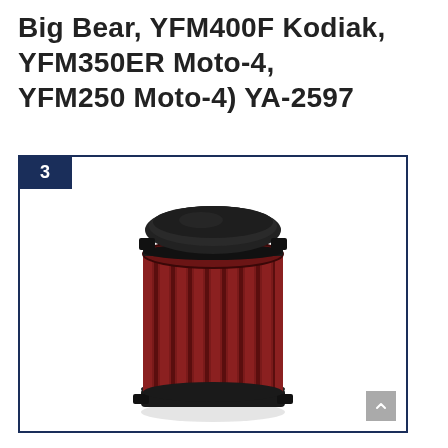Big Bear, YFM400F Kodiak, YFM350ER Moto-4, YFM250 Moto-4) YA-2597
[Figure (photo): A cylindrical aftermarket air filter (K&N style) with red pleated filter media and black top cap and bottom base plate, shown against a white background. The filter is tall and cylindrical with vertical pleats.]